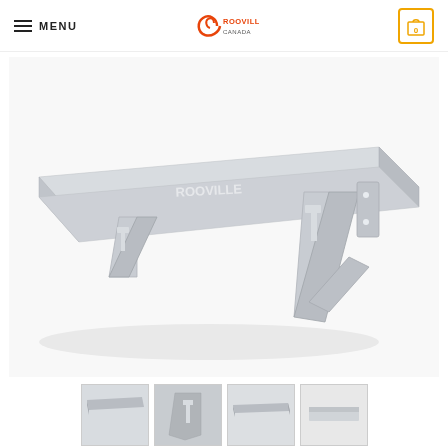MENU | Rooville Canada | Cart 0
[Figure (photo): White wall-mounted metal shelf with two triangular bracket supports, shown in perspective view against white background]
[Figure (photo): Thumbnail 1: close-up of shelf surface]
[Figure (photo): Thumbnail 2: bracket detail view]
[Figure (photo): Thumbnail 3: shelf from another angle]
[Figure (photo): Thumbnail 4: shelf partial view]